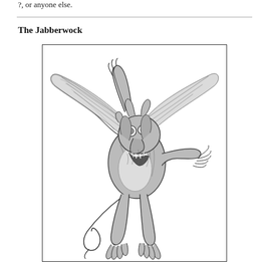?, or anyone else.
The Jabberwock
[Figure (illustration): Black and white pen-and-ink illustration of the Jabberwock: a fearsome dragon-like creature with large bat wings spread wide, a hunched bipedal body, clawed hands and feet, a long curling tail, and a grotesque open-mouthed face with bulging eyes. The creature appears to be lunging forward aggressively.]